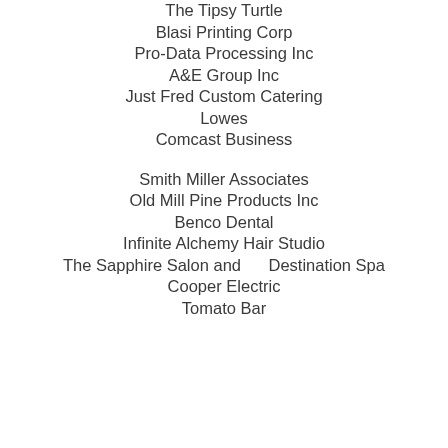The Tipsy Turtle
Blasi Printing Corp
Pro-Data Processing Inc
A&E Group Inc
Just Fred Custom Catering
Lowes
Comcast Business
Smith Miller Associates
Old Mill Pine Products Inc
Benco Dental
Infinite Alchemy Hair Studio
The Sapphire Salon and     Destination Spa
Cooper Electric
Tomato Bar